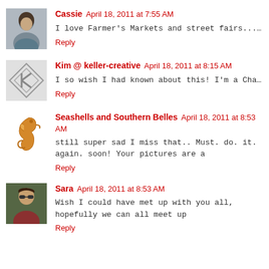[Figure (photo): Avatar photo of Cassie - woman profile]
Cassie April 18, 2011 at 7:55 AM
I love Farmer's Markets and street fairs...I can't wait until summer so I
Reply
[Figure (logo): Avatar logo for Kim @ keller-creative - diamond shape graphic]
Kim @ keller-creative April 18, 2011 at 8:15 AM
I so wish I had known about this! I'm a Charleston blogger so please le
Reply
[Figure (illustration): Avatar illustration of a seahorse for Seashells and Southern Belles]
Seashells and Southern Belles April 18, 2011 at 8:53 AM
still super sad I miss that.. Must. do. it. again. soon! Your pictures are a
eat vegetables. Which is funny since I'm a vegetarian who doesn't reall
Reply
[Figure (photo): Avatar photo of Sara - woman with sunglasses]
Sara April 18, 2011 at 8:53 AM
Wish I could have met up with you all, hopefully we can all meet up
time && I LOve the farmer's market :)
Reply